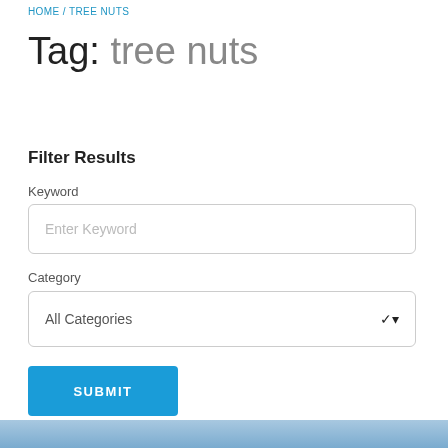HOME / TREE NUTS
Tag: tree nuts
Filter Results
Keyword
Enter Keyword
Category
All Categories
SUBMIT
[Figure (photo): Partial bottom image strip, appears to be a nature or food photo]